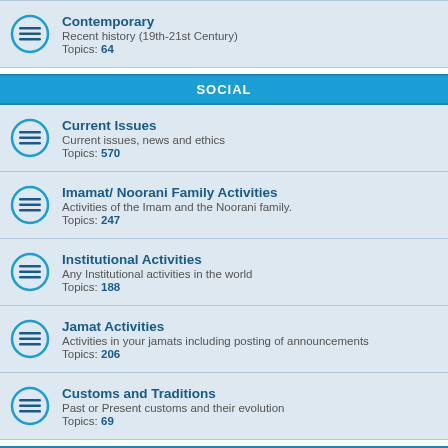Contemporary — Recent history (19th-21st Century) — Topics: 64
SOCIAL
Current Issues — Current issues, news and ethics — Topics: 570
Imamat/ Noorani Family Activities — Activities of the Imam and the Noorani family. — Topics: 247
Institutional Activities — Any Institutional activities in the world — Topics: 188
Jamat Activities — Activities in your jamats including posting of announcements — Topics: 206
Customs and Traditions — Past or Present customs and their evolution — Topics: 69
OTHERS
DID YOU KNOW? — In this Forum you put small info of a couple of line, some info that is though provoking, like the Did You Know on the front page...